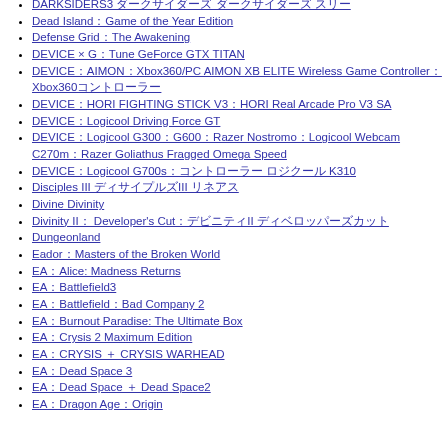DARKSIDERS3 ダークサイダーズ ダークサイダーズ スリー
Dead Island：Game of the Year Edition
Defense Grid：The Awakening
DEVICE × G：Tune GeForce GTX TITAN
DEVICE：AIMON：Xbox360/PC AIMON XB ELITE Wireless Game Controller：Xbox360コントローラー
DEVICE：HORI FIGHTING STICK V3：HORI Real Arcade Pro V3 SA
DEVICE：Logicool Driving Force GT
DEVICE：Logicool G300：G600：Razer Nostromo：Logicool Webcam C270m：Razer Goliathus Fragged Omega Speed
DEVICE：Logicool G700s：コントローラー ロジクール K310
Disciples III ディサイプルズIII リネアス
Divine Divinity
Divinity II： Developer's Cut：デビニティII ディベロッパーズカット
Dungeonland
Eador：Masters of the Broken World
EA：Alice: Madness Returns
EA：Battlefield3
EA：Battlefield：Bad Company 2
EA：Burnout Paradise: The Ultimate Box
EA：Crysis 2 Maximum Edition
EA：CRYSIS ＋ CRYSIS WARHEAD
EA：Dead Space 3
EA：Dead Space ＋ Dead Space2
EA：Dragon Age：Origin